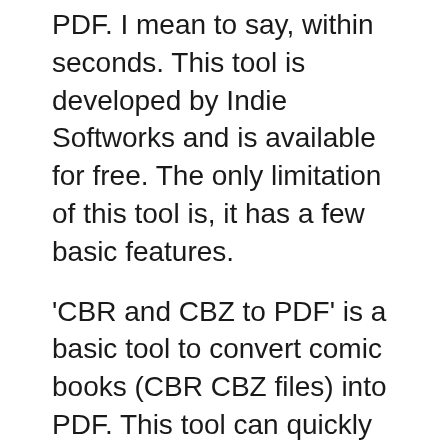PDF. I mean to say, within seconds. This tool is developed by Indie Softworks and is available for free. The only limitation of this tool is, it has a few basic features.
'CBR and CBZ to PDF' is a basic tool to convert comic books (CBR CBZ files) into PDF. This tool can quickly convert CBR, CBZ, ZIP, and RAR files to PDF. I mean to say, within seconds. This tool is developed by Indie Softworks and is available for free. The only limitation of this tool is, it has a few basic features. 'CBR and CBZ to PDF' is a basic tool to convert comic books (CBR CBZ files) into PDF. This tool can quickly convert CBR, CBZ, ZIP, and RAR files to PDF. I